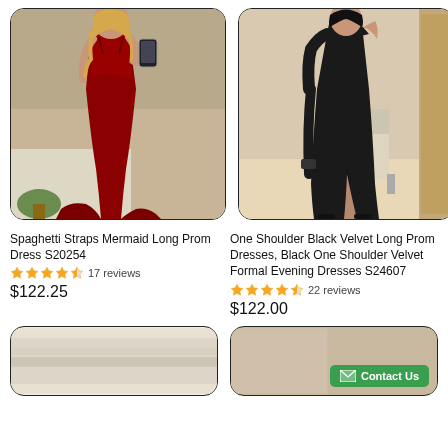[Figure (photo): Woman wearing a red spaghetti strap mermaid long prom dress, taking a mirror selfie]
[Figure (photo): Woman wearing a black one shoulder velvet long prom dress with a leg slit]
Spaghetti Straps Mermaid Long Prom Dress S20254
One Shoulder Black Velvet Long Prom Dresses, Black One Shoulder Velvet Formal Evening Dresses S24607
4.5 stars, 17 reviews
4.5 stars, 22 reviews
$122.25
$122.00
[Figure (photo): Partial view of a light-colored fabric or dress product]
[Figure (photo): Partial view of a fabric product with a Contact Us button overlay]